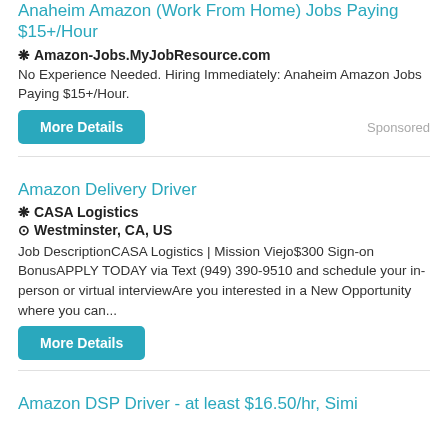Anaheim Amazon (Work From Home) Jobs Paying $15+/Hour
❋ Amazon-Jobs.MyJobResource.com
No Experience Needed. Hiring Immediately: Anaheim Amazon Jobs Paying $15+/Hour.
More Details
Sponsored
Amazon Delivery Driver
❋ CASA Logistics
⊙ Westminster, CA, US
Job DescriptionCASA Logistics | Mission Viejo$300 Sign-on BonusAPPLY TODAY via Text (949) 390-9510 and schedule your in-person or virtual interviewAre you interested in a New Opportunity where you can...
More Details
Amazon DSP Driver - at least $16.50/hr, Simi